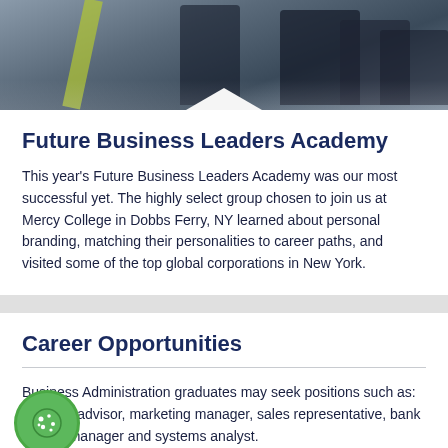[Figure (photo): People in business attire seated outdoors, photo strip at top of page]
Future Business Leaders Academy
This year's Future Business Leaders Academy was our most successful yet. The highly select group chosen to join us at Mercy College in Dobbs Ferry, NY learned about personal branding, matching their personalities to career paths, and visited some of the top global corporations in New York.
Career Opportunities
Business Administration graduates may seek positions such as: financial advisor, marketing manager, sales representative, bank branch manager and systems analyst.